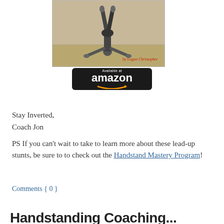[Figure (photo): Photo of a person performing a handstand on carpet, with text 'by Logan Christopher' in red cursive at bottom right]
[Figure (logo): Amazon 'Available at amazon' button logo with orange arrow smile on black background]
Stay Inverted,
Coach Jon
PS If you can't wait to take to learn more about these lead-up stunts, be sure to to check out the Handstand Mastery Program!
Comments { 0 }
Handstanding Coaching...